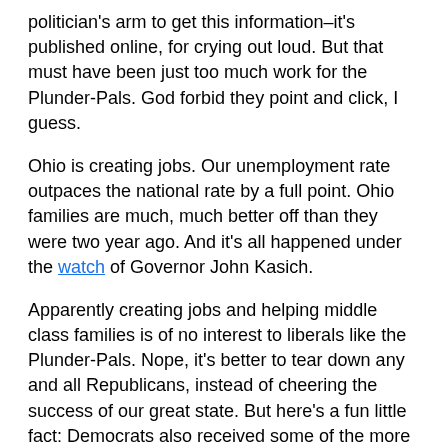politician's arm to get this information–it's published online, for crying out loud.  But that must have been just too much work for the Plunder-Pals.  God forbid they point and click, I guess.
Ohio is creating jobs.  Our unemployment rate outpaces the national rate by a full point.  Ohio families are much, much better off than they were two year ago.  And it's all happened under the watch of Governor John Kasich.
Apparently creating jobs and helping middle class families is of no interest to liberals like the Plunder-Pals.  Nope, it's better to tear down any and all Republicans, instead of cheering the success of our great state.  But here's a fun little fact: Democrats also received some of the more than 130,000 jobs created under Governor Kasich.
A fun little phrase about spiting your face comes to